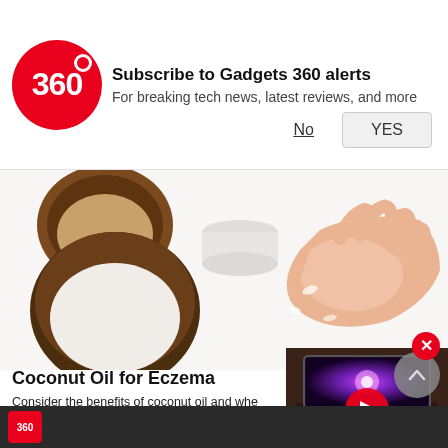[Figure (screenshot): Gadgets 360 notification bar with red circle logo showing '360', subscribe message, No and YES buttons]
Subscribe to Gadgets 360 alerts
For breaking tech news, latest reviews, and more
[Figure (photo): Coconut halves and cream jar with hands applying cream on white background]
Coconut Oil for Eczema
Consider the benefits of coconut oil and whe... manage your symptoms.
MyEczemaTeam | Sponsored
[Figure (screenshot): Video thumbnail showing TV with galaxy image displayed and red play button overlay]
[Figure (photo): Bottom strip showing partial dark background with red logo]